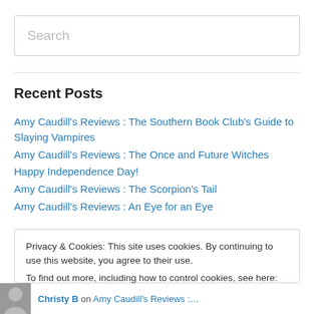Search
Recent Posts
Amy Caudill's Reviews : The Southern Book Club's Guide to Slaying Vampires
Amy Caudill's Reviews : The Once and Future Witches
Happy Independence Day!
Amy Caudill's Reviews : The Scorpion's Tail
Amy Caudill's Reviews : An Eye for an Eye
Privacy & Cookies: This site uses cookies. By continuing to use this website, you agree to their use. To find out more, including how to control cookies, see here: Cookie Policy
Close and accept
Christy B on Amy Caudill's Reviews :…